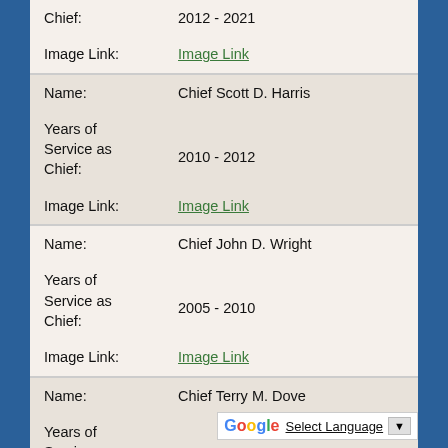Chief: 2012 - 2021
Image Link: Image Link
Name: Chief Scott D. Harris
Years of Service as Chief: 2010 - 2012
Image Link: Image Link
Name: Chief John D. Wright
Years of Service as Chief: 2005 - 2010
Image Link: Image Link
Name: Chief Terry M. Dove
Years of Service as Chief: 2001 - 2005